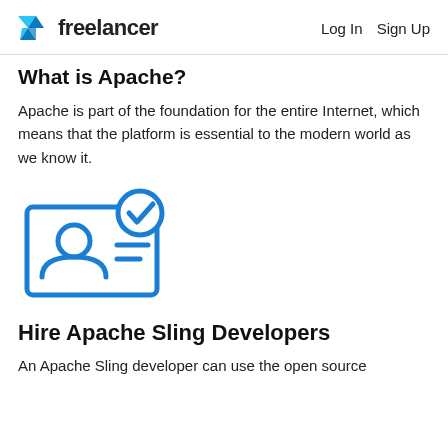freelancer   Log In   Sign Up
What is Apache?
Apache is part of the foundation for the entire Internet, which means that the platform is essential to the modern world as we know it.
[Figure (illustration): Blue line icon of an ID card with a person silhouette and two lines indicating text, with a checkmark badge in the upper right corner.]
Hire Apache Sling Developers
An Apache Sling developer can use the open source